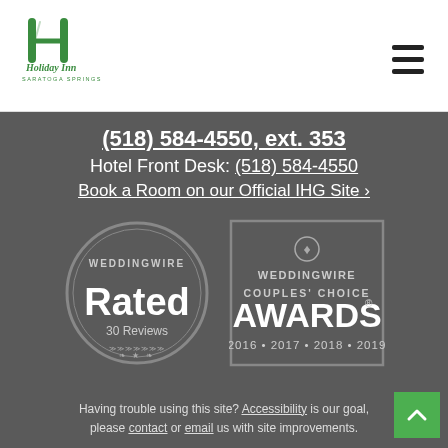[Figure (logo): Holiday Inn Saratoga Springs logo — green stylized H with 'Holiday Inn' text and 'SARATOGA SPRINGS' below]
(518) 584-4550, ext. 353
Hotel Front Desk: (518) 584-4550
Book a Room on our Official IHG Site ›
[Figure (logo): WeddingWire Rated badge — circular badge with text 'WEDDINGWIRE Rated 30 Reviews' with decorative wheat/star border]
[Figure (logo): WeddingWire Couples' Choice Awards badge — rectangular badge with text 'WEDDINGWIRE COUPLES' CHOICE AWARDS® 2016 • 2017 • 2018 • 2019']
Having trouble using this site? Accessibility is our goal, please contact or email us with site improvements.